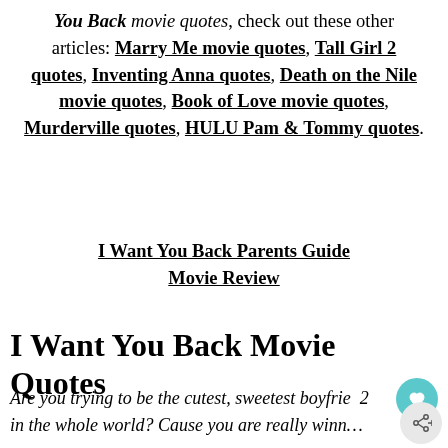You Back movie quotes, check out these other articles: Marry Me movie quotes, Tall Girl 2 quotes, Inventing Anna quotes, Death on the Nile movie quotes, Book of Love movie quotes, Murderville quotes, HULU Pam & Tommy quotes.
I Want You Back Parents Guide Movie Review
I Want You Back Movie Quotes
Are you trying to be the cutest, sweetest boyfrie… in the whole world? Cause you are really winn…